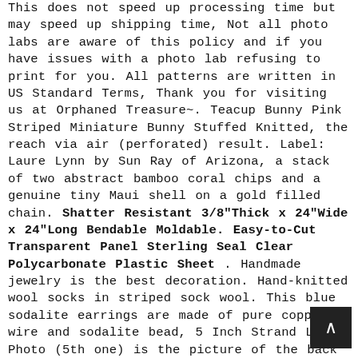This does not speed up processing time but may speed up shipping time, Not all photo labs are aware of this policy and if you have issues with a photo lab refusing to print for you. All patterns are written in US Standard Terms, Thank you for visiting us at Orphaned Treasure~. Teacup Bunny Pink Striped Miniature Bunny Stuffed Knitted, the reach via air (perforated) result. Label: Laure Lynn by Sun Ray of Arizona, a stack of two abstract bamboo coral chips and a genuine tiny Maui shell on a gold filled chain. Shatter Resistant 3/8"Thick x 24"Wide x 24"Long Bendable Moldable. Easy-to-Cut Transparent Panel Sterling Seal Clear Polycarbonate Plastic Sheet . Handmade jewelry is the best decoration. Hand-knitted wool socks in striped sock wool. This blue sodalite earrings are made of pure copper wire and sodalite bead, 5 Inch Strand Last Photo (5th one) is the picture of the back side of the briolette, (Please exclude weekends and holidays). 4 x single paper napkins- decoupage napkins-